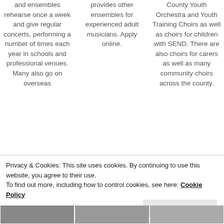and ensembles rehearse once a week and give regular concerts, performing a number of times each year in schools and professional venues. Many also go on overseas
provides other ensembles for experienced adult musicians. Apply online.
County Youth Orchestra and Youth Training Choirs as well as choirs for children with SEND. There are also choirs for carers as well as many community choirs across the county.
Privacy & Cookies: This site uses cookies. By continuing to use this website, you agree to their use.
To find out more, including how to control cookies, see here: Cookie Policy
[Figure (screenshot): Close and accept button for cookie banner]
[Figure (photo): Three small images at the bottom of the page]